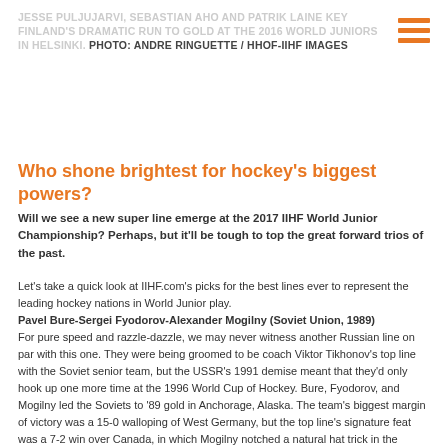JESSE PULJUJARVI, SEBASTIAN AHO AND PATRIK LAINE KEY FINLAND'S DRAMATIC RUN TO GOLD AT THE 2016 WORLD JUNIORS IN HELSINKI. PHOTO: ANDRE RINGUETTE / HHOF-IIHF IMAGES
Who shone brightest for hockey's biggest powers?
Will we see a new super line emerge at the 2017 IIHF World Junior Championship? Perhaps, but it'll be tough to top the great forward trios of the past.
Let's take a quick look at IIHF.com's picks for the best lines ever to represent the leading hockey nations in World Junior play.
Pavel Bure-Sergei Fyodorov-Alexander Mogilny (Soviet Union, 1989)
For pure speed and razzle-dazzle, we may never witness another Russian line on par with this one. They were being groomed to be coach Viktor Tikhonov's top line with the Soviet senior team, but the USSR's 1991 demise meant that they'd only hook up one more time at the 1996 World Cup of Hockey. Bure, Fyodorov, and Mogilny led the Soviets to '89 gold in Anchorage, Alaska. The team's biggest margin of victory was a 15-0 walloping of West Germany, but the top line's signature feat was a 7-2 win over Canada, in which Mogilny notched a natural hat trick in the second period.
Mike Modano-Jeremy Roenick-John LeClair (USA, 1989)